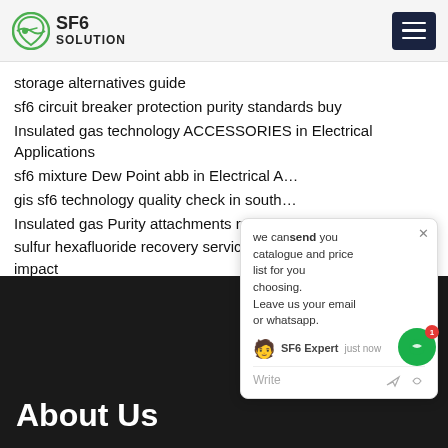SF6 SOLUTION
storage alternatives guide
sf6 circuit breaker protection purity standards buy
Insulated gas technology ACCESSORIES in Electrical Applications
sf6 mixture Dew Point abb in Electrical A…
gis sf6 technology quality check in south…
Insulated gas Purity attachments rule
sulfur hexafluoride recovery service … climate impact
we can send you catalogue and price list for you choosing. Leave us your email or whatsapp.
About Us